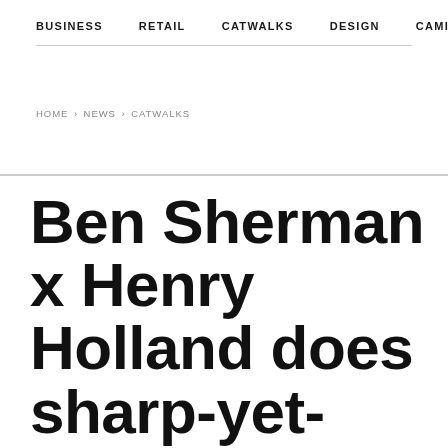BUSINESS   RETAIL   CATWALKS   DESIGN   CAMI >
HOME › NEWS › CATWALKS
Ben Sherman x Henry Holland does sharp-yet-street Northern Soul chic